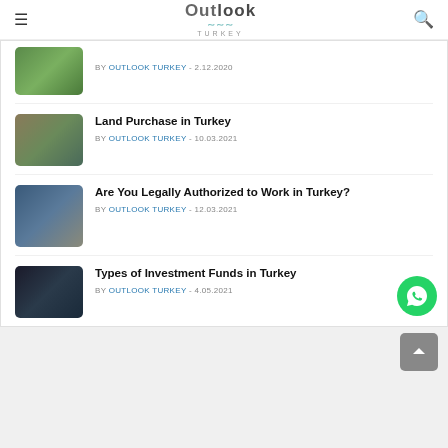Outlook Turkey
BY OUTLOOK TURKEY - 2.12.2020
Land Purchase in Turkey
BY OUTLOOK TURKEY - 10.03.2021
Are You Legally Authorized to Work in Turkey?
BY OUTLOOK TURKEY - 12.03.2021
Types of Investment Funds in Turkey
BY OUTLOOK TURKEY - 4.05.2021